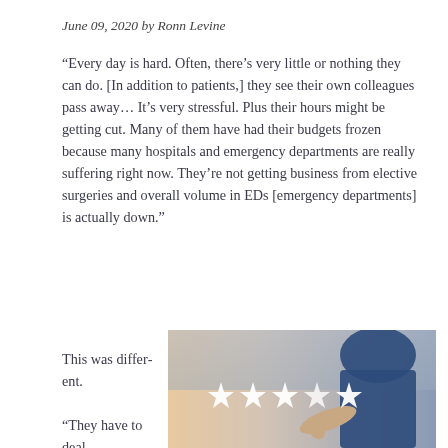June 09, 2020 by Ronn Levine
“Every day is hard. Often, there’s very little or nothing they can do. [In addition to patients,] they see their own colleagues pass away… It’s very stressful. Plus their hours might be getting cut. Many of them have had their budgets frozen because many hospitals and emergency departments are really suffering right now. They’re not getting business from elective surgeries and overall volume in EDs [emergency departments] is actually down.”
This was different.
[Figure (photo): Person in blue shirt pointing at star rating icons (5 white stars) against a warm light background]
“They have to deal